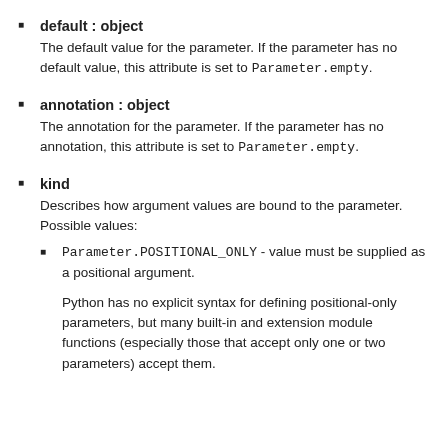default : object
The default value for the parameter. If the parameter has no default value, this attribute is set to Parameter.empty.
annotation : object
The annotation for the parameter. If the parameter has no annotation, this attribute is set to Parameter.empty.
kind
Describes how argument values are bound to the parameter. Possible values:
  Parameter.POSITIONAL_ONLY - value must be supplied as a positional argument.
  Python has no explicit syntax for defining positional-only parameters, but many built-in and extension module functions (especially those that accept only one or two parameters) accept them.